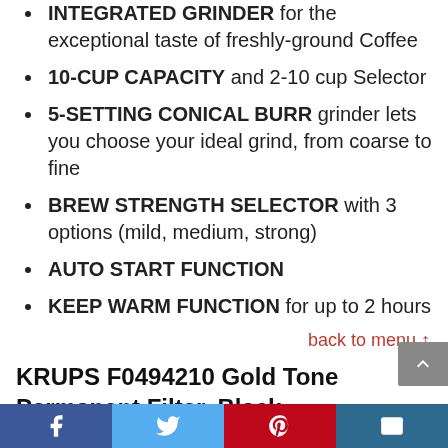INTEGRATED GRINDER for the exceptional taste of freshly-ground Coffee
10-CUP CAPACITY and 2-10 cup Selector
5-SETTING CONICAL BURR grinder lets you choose your ideal grind, from coarse to fine
BREW STRENGTH SELECTOR with 3 options (mild, medium, strong)
AUTO START FUNCTION
KEEP WARM FUNCTION for up to 2 hours
back to menu ↑
KRUPS F0494210 Gold Tone Permanent Filter, Black